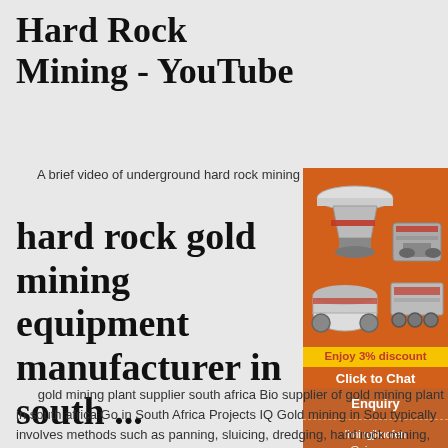Hard Rock Mining - YouTube
A brief video of underground hard rock mining in Tennessee.
hard rock gold mining equipment manufacturer in south ...
[Figure (illustration): Orange advertisement banner for mining equipment manufacturer showing images of mining machinery (cone crusher, jaw crusher, ball mill) with text 'Enjoy 3% discount' in yellow and 'Click to Chat' in white, plus Enquiry section and email limingjlmofen@sina.com]
gold mining plant supplier south africa Bio supplier of gold mining plant in south africa Go in South Africa Projects IQ Gold mining in Sou typically involves methods such as panning, sluicing, dredging, hard rock mining, and byproduct mining Get